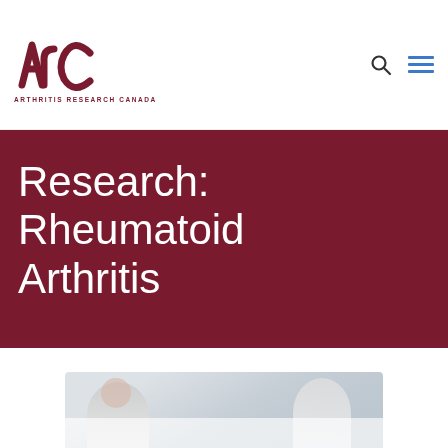[Figure (logo): ARC Arthritis Research Canada logo — stylized arc letters in dark red with text 'ARTHRITIS RESEARCH CANADA' below]
Research: Rheumatoid Arthritis
[Figure (photo): Partial photo of a person in a white coat, suggesting a medical professional or doctor, cropped at the bottom of the page]